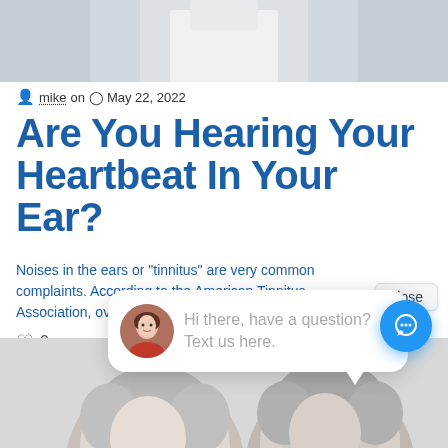[Figure (photo): Top portion of a person in a white coat, cropped photo showing torso/shoulder area with light gray background]
mike on  May 22, 2022
Are You Hearing Your Heartbeat In Your Ear?
Noises in the ears or "tinnitus" are very common complaints. According to the American Tinnitus Association, over 5 million Americans...
[Figure (screenshot): Chat widget popup with avatar of a woman and message: Hi there, have a question? Text us here. Close button visible. Blue circular chat FAB button in bottom right.]
[Figure (photo): Bottom portion showing top of heads of elderly couple with gray hair]